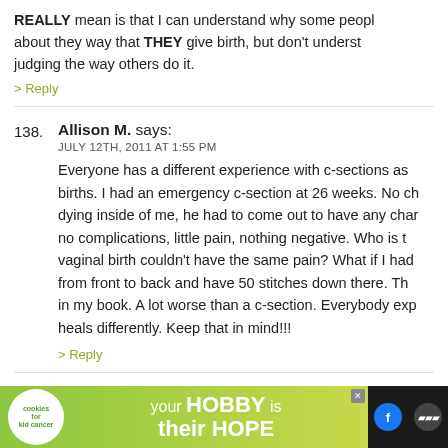REALLY mean is that I can understand why some people about they way that THEY give birth, but don't understand judging the way others do it.
> Reply
138. Allison M. says: JULY 12TH, 2011 AT 1:55 PM
Everyone has a different experience with c-sections as births. I had an emergency c-section at 26 weeks. No ch dying inside of me, he had to come out to have any char no complications, little pain, nothing negative. Who is t vaginal birth couldn't have the same pain? What if I had from front to back and have 50 stitches down there. Th in my book. A lot worse than a c-section. Everybody exp heals differently. Keep that in mind!!!
> Reply
139. jenny says:
[Figure (screenshot): Advertisement banner: cookies for kid cancer - your HOBBY is their HOPE, with social media icons]